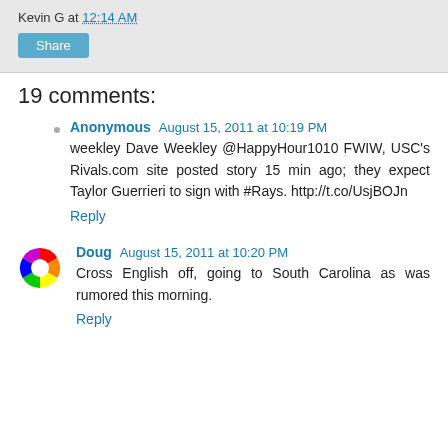Kevin G at 12:14 AM
Share
19 comments:
Anonymous August 15, 2011 at 10:19 PM
weekley Dave Weekley @HappyHour1010 FWIW, USC's Rivals.com site posted story 15 min ago; they expect Taylor Guerrieri to sign with #Rays. http://t.co/UsjBOJn
Reply
Doug August 15, 2011 at 10:20 PM
Cross English off, going to South Carolina as was rumored this morning.
Reply